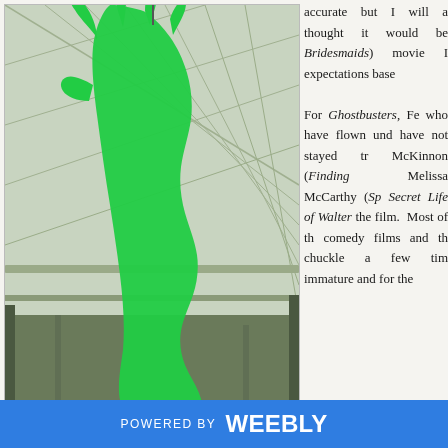[Figure (photo): Photo of a large green slime ghost hand sculpture hanging from the ceiling of what appears to a grand train station with a glass roof and iron framework, with a large clock visible in the background.]
accurate but I will a thought it would be Bridesmaids) movie I expectations base For Ghostbusters, Fe who have flown und have not stayed tr McKinnon (Finding Melissa McCarthy (Sp Secret Life of Walter the film. Most of th comedy films and th chuckle a few tim immature and for the
One of the redeeming features of this film is the special effect looked very vivid and bright. I loved the look of the ghosts, effervescence. The final act of the film is awesome becaus
POWERED BY weebly